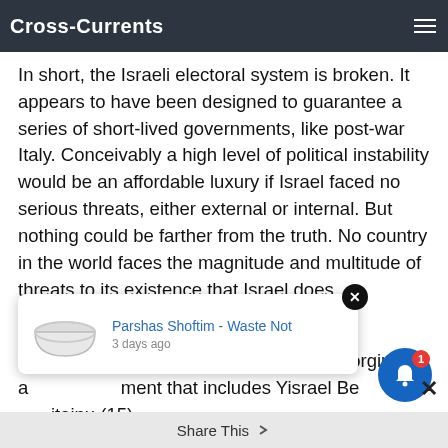Cross-Currents
In short, the Israeli electoral system is broken. It appears to have been designed to guarantee a series of short-lived governments, like post-war Italy. Conceivably a high level of political instability would be an affordable luxury if Israel faced no serious threats, either external or internal. But nothing could be farther from the truth. No country in the world faces the magnitude and multitude of threats to its existence that Israel does.
Possible Coalitions
Netanyahu has the theoretical option of forging a government that includes Yisrael Beiteinu (15), National Union (4), and the Jewish Home (3). Such a
[Figure (other): Popup notification card showing 'Parshas Shoftim - Waste Not' article link with bowl image, posted 3 days ago, with X close button]
Share This